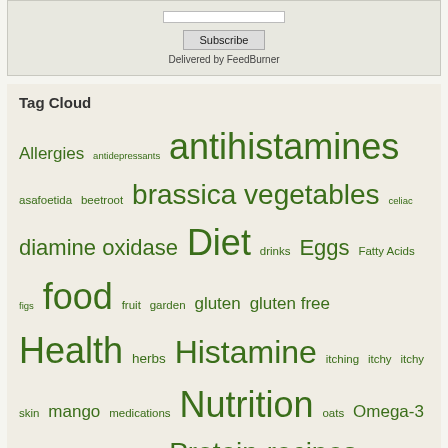[Figure (other): Subscribe form with input field, Subscribe button, and 'Delivered by FeedBurner' text]
Tag Cloud
Allergies antidepressants antihistamines asafoetida beetroot brassica vegetables celiac diamine oxidase Diet drinks Eggs Fatty Acids figs food fruit garden gluten gluten free Health herbs Histamine itching itchy itchy skin mango medications Nutrition oats Omega-3 Fatty Acids probiotics Protein recipes rooibos Skin Skin Reactions stress stress and histamine stress